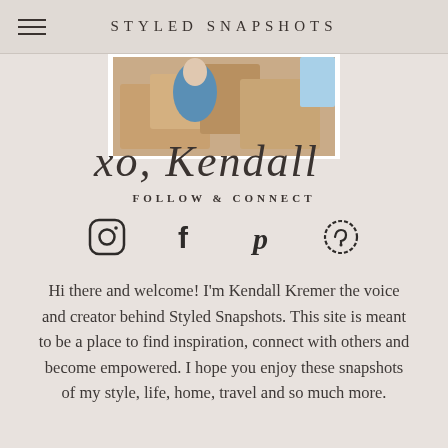STYLED SNAPSHOTS
[Figure (photo): Photo of person surrounded by cardboard boxes, partially visible at top]
[Figure (illustration): Handwritten cursive signature reading 'xo, Kendall']
FOLLOW & CONNECT
[Figure (infographic): Four social media icons: Instagram, Facebook, Pinterest, and a circular heart/share icon]
Hi there and welcome! I'm Kendall Kremer the voice and creator behind Styled Snapshots. This site is meant to be a place to find inspiration, connect with others and become empowered. I hope you enjoy these snapshots of my style, life, home, travel and so much more.